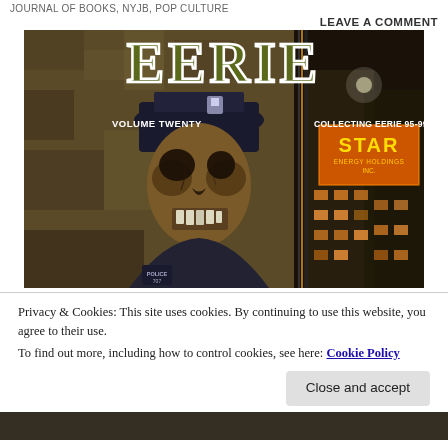JOURNAL OF BOOKS, NYJB, POP CULTURE
LEAVE A COMMENT
[Figure (photo): Book cover of EERIE Volume Twenty, collecting Eerie issues 95-99. Features a zombie police officer in the foreground with a dark city scene and a 'STAR ENERGY HOLDINGS INC.' building sign in the background.]
Privacy & Cookies: This site uses cookies. By continuing to use this website, you agree to their use.
To find out more, including how to control cookies, see here: Cookie Policy
Close and accept